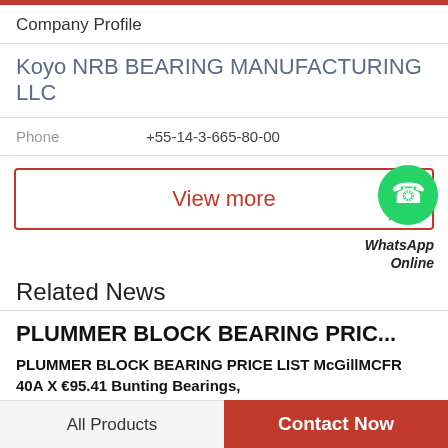Company Profile
Koyo NRB BEARING MANUFACTURING LLC
Phone   +55-14-3-665-80-00
View more
[Figure (logo): WhatsApp green bubble icon with phone symbol, labeled WhatsApp Online]
Related News
PLUMMER BLOCK BEARING PRIC...
PLUMMER BLOCK BEARING PRICE LIST McGillMCFR 40A X €95.41 Bunting Bearings,
All Products   Contact Now